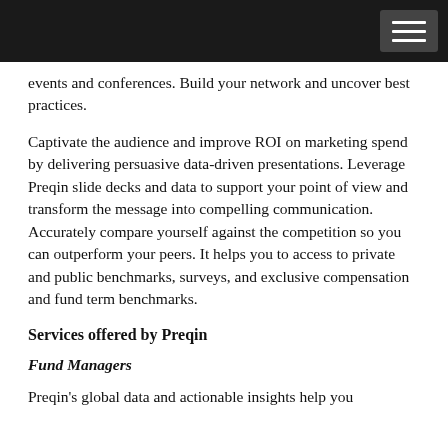events and conferences. Build your network and uncover best practices.
Captivate the audience and improve ROI on marketing spend by delivering persuasive data-driven presentations. Leverage Preqin slide decks and data to support your point of view and transform the message into compelling communication. Accurately compare yourself against the competition so you can outperform your peers. It helps you to access to private and public benchmarks, surveys, and exclusive compensation and fund term benchmarks.
Services offered by Preqin
Fund Managers
Preqin's global data and actionable insights help you